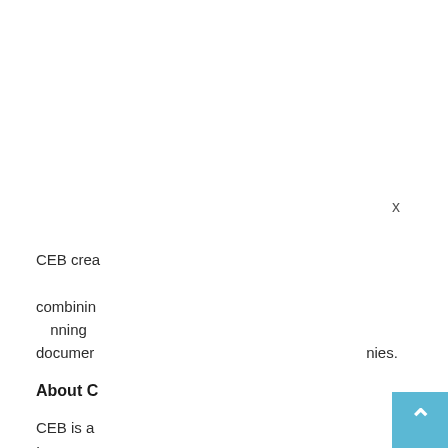CEB creates best practices research and decision support tools by combining the best of independent research with award-winning documentation and insights from member companies.
About C
CEB is a best practice insight and technology company. In partnership with leading organizations around the globe, we